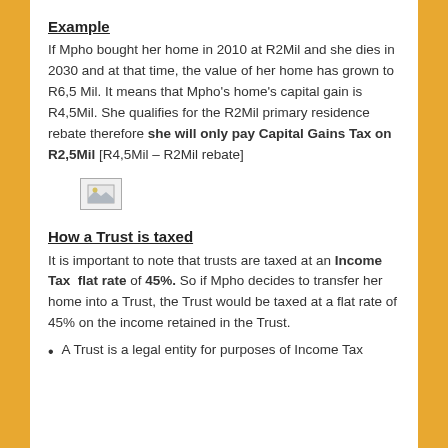Example
If Mpho bought her home in 2010 at R2Mil and she dies in 2030 and at that time, the value of her home has grown to R6,5 Mil. It means that Mpho’s home’s capital gain is R4,5Mil. She qualifies for the R2Mil primary residence rebate therefore she will only pay Capital Gains Tax on R2,5Mil [R4,5Mil – R2Mil rebate]
[Figure (illustration): Small placeholder image icon]
How a Trust is taxed
It is important to note that trusts are taxed at an Income Tax flat rate of 45%. So if Mpho decides to transfer her home into a Trust, the Trust would be taxed at a flat rate of 45% on the income retained in the Trust.
A Trust is a legal entity for purposes of Income Tax